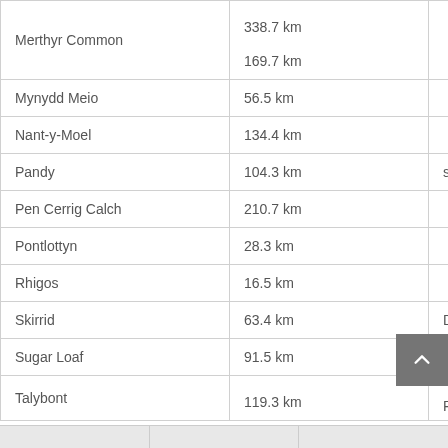| Location | Distance |  |
| --- | --- | --- |
| Merthyr Common | 338.7 km
169.7 km |  |
| Mynydd Meio | 56.5 km |  |
| Nant-y-Moel | 134.4 km |  |
| Pandy | 104.3 km |  |
| Pen Cerrig Calch | 210.7 km |  |
| Pontlottyn | 28.3 km |  |
| Rhigos | 16.5 km |  |
| Skirrid | 63.4 km |  |
| Sugar Loaf | 91.5 km |  |
| Talybont | 119.3 km |  |